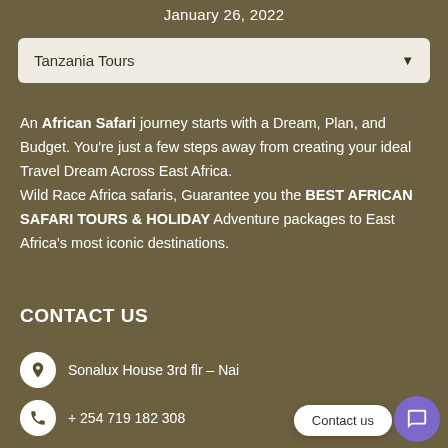January 26, 2022
[Figure (screenshot): Tanzania Tours dropdown selector with light beige background]
An African Safari journey starts with a Dream, Plan, and Budget. You're just a few steps away from creating your ideal Travel Dream Across East Africa. Wild Race Africa safaris, Guarantee you the BEST AFRICAN SAFARI TOURS & HOLIDAY Adventure packages to East Africa's most iconic destinations.
CONTACT US
Sonalux House 3rd flr – Nai
+ 254 719 182 308